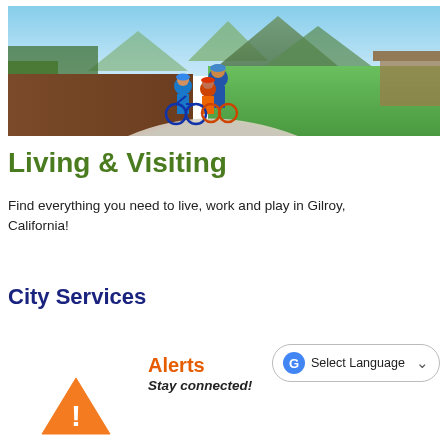[Figure (photo): Two children and an adult riding bicycles on a curved paved path in a sunny park with green grass, trees, and mountains in the background. The riders wear blue clothing and helmets.]
Living & Visiting
Find everything you need to live, work and play in Gilroy, California!
City Services
Alerts
Stay connected!